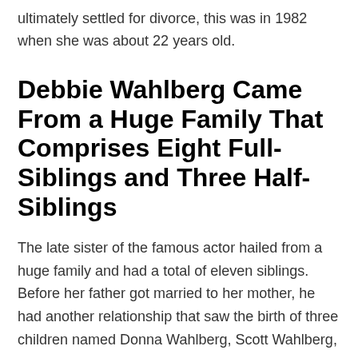ultimately settled for divorce, this was in 1982 when she was about 22 years old.
Debbie Wahlberg Came From a Huge Family That Comprises Eight Full-Siblings and Three Half-Siblings
The late sister of the famous actor hailed from a huge family and had a total of eleven siblings. Before her father got married to her mother, he had another relationship that saw the birth of three children named Donna Wahlberg, Scott Wahlberg,